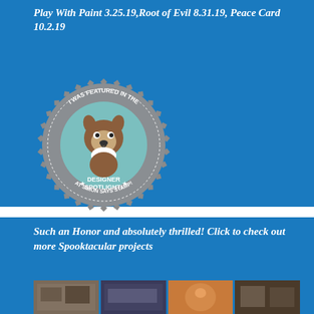Play With Paint 3.25.19,Root of Evil 8.31.19, Peace Card 10.2.19
[Figure (illustration): Circular badge/seal graphic in gray and teal with a Boston Terrier dog illustration in the center. Text reads: I WAS FEATURED IN THE DESIGNER SPOTLIGHT! AT SIMON SAYS STAMP!]
Such an Honor and absolutely thrilled! Click to check out more Spooktacular projects
[Figure (photo): A horizontal strip of four small photo thumbnails showing crafting/stamping projects on a blue background]